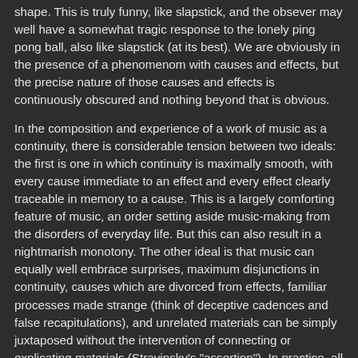shape.  This is truly funny, like slapstick, and the observer may well have a somewhat tragic response to the lonely ping pong ball, also like slapstick (at its best). We are obviously in the presence of a phenomenom with causes and effects, but the precise nature of those causes and effects is continuously obscured and nothing beyond that is obvious.
In the composition and experience of a work of music as a continuity, there is considerable tension between two ideals: the first is one in which continuity is maximally smooth, with every cause immediate to an effect and every effect clearly traceable in memory to a cause.  This is a largely comforting feature of music, an order setting aside music-making from the disorders of everyday life.  But this can also result in a nightmarish monotony.  The other ideal is that music can equally well embrace surprises, maximum disjunctions in continuity, causes which are divorced from effects, familiar processes made strange (think of deceptive cadences and false recapitulations), and unrelated materials can be simply juxtaposed without the intervention of connecting or explicating materials (Stravinsky's "assertion").  In practice, all the music that I understand (and, perhaps, you, too) as interesting, no, good, music finds some special, if not unique